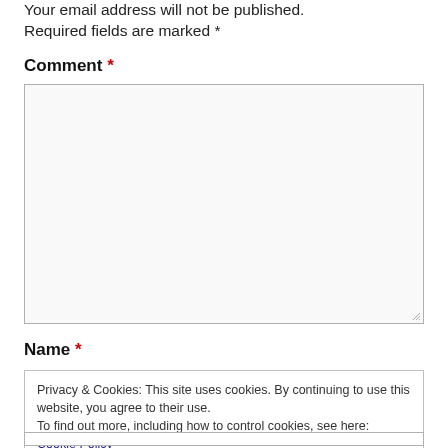Your email address will not be published. Required fields are marked *
Comment *
[Figure (other): Empty comment textarea input box with resize handle]
Name *
Privacy & Cookies: This site uses cookies. By continuing to use this website, you agree to their use.
To find out more, including how to control cookies, see here: Cookie Policy
Close and accept